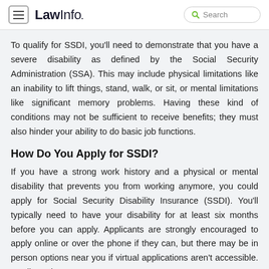LawInfo. Search
To qualify for SSDI, you'll need to demonstrate that you have a severe disability as defined by the Social Security Administration (SSA). This may include physical limitations like an inability to lift things, stand, walk, or sit, or mental limitations like significant memory problems. Having these kind of conditions may not be sufficient to receive benefits; they must also hinder your ability to do basic job functions.
How Do You Apply for SSDI?
If you have a strong work history and a physical or mental disability that prevents you from working anymore, you could apply for Social Security Disability Insurance (SSDI). You'll typically need to have your disability for at least six months before you can apply. Applicants are strongly encouraged to apply online or over the phone if they can, but there may be in person options near you if virtual applications aren't accessible. You'll need to